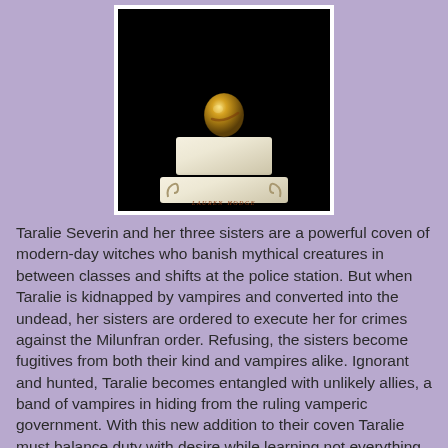[Figure (illustration): Book cover showing a golden orb/crystal ball resting on a white ornate pedestal against a black background, with the author name 'lauren hodge' in small caps at the bottom of the cover image.]
Taralie Severin and her three sisters are a powerful coven of modern-day witches who banish mythical creatures in between classes and shifts at the police station. But when Taralie is kidnapped by vampires and converted into the undead, her sisters are ordered to execute her for crimes against the Milunfran order. Refusing, the sisters become fugitives from both their kind and vampires alike. Ignorant and hunted, Taralie becomes entangled with unlikely allies, a band of vampires in hiding from the ruling vamperic government. With this new addition to their coven Taralie must balance duty with desire while learning not everything is as it seems, that choices can carry more than a blade's weight.